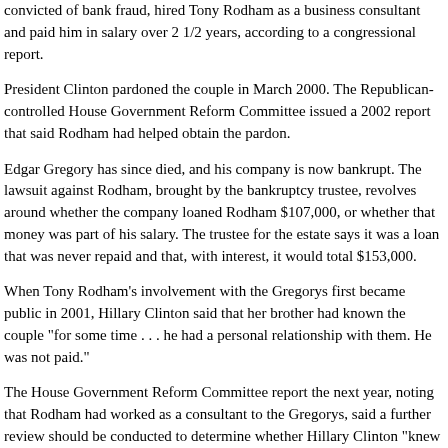convicted of bank fraud, hired Tony Rodham as a business consultant and paid him in salary over 2 1/2 years, according to a congressional report.
President Clinton pardoned the couple in March 2000. The Republican-controlled House Government Reform Committee issued a 2002 report that said Rodham had helped obtain the pardon.
Edgar Gregory has since died, and his company is now bankrupt. The lawsuit against Rodham, brought by the bankruptcy trustee, revolves around whether the company loaned Rodham $107,000, or whether that money was part of his salary. The trustee for the estate says it was a loan that was never repaid and that, with interest, it would total $153,000.
When Tony Rodham's involvement with the Gregorys first became public in 2001, Hillary Clinton said that her brother had known the couple "for some time . . . he had a personal relationship with them. He was not paid."
The House Government Reform Committee report the next year, noting that Rodham had worked as a consultant to the Gregorys, said a further review should be conducted to determine whether Hillary Clinton "knew of the financial relationship between Tony Rodham and the Gregorys when Rodham was lobbying the President for pardons." It also said Hillary Clinton's "statement that Tony Rodham 'was not paid' is not accurate."
Rodham yesterday did not respond to a request for comment. In 2001, he acknowledged he had worked as a consultant for the Gregorys but that "on the pardon issue, I never made a dime from them."
Rodham also said that he mentioned the pardon application to then-President Clinton. "I did," Rodham said. "And I have no problem saying I mentioned it to the president."
Attorneys for Rodham and the bankrupt estate said they have no plans to settle.